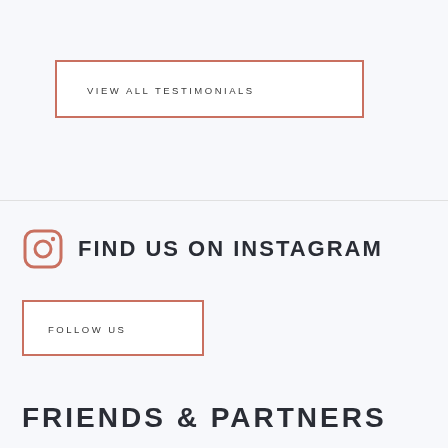VIEW ALL TESTIMONIALS
FIND US ON INSTAGRAM
FOLLOW US
FRIENDS & PARTNERS